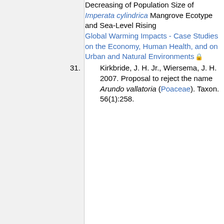Decreasing of Population Size of Imperata cylindrica Mangrove Ecotype and Sea-Level Rising Global Warming Impacts - Case Studies on the Economy, Human Health, and on Urban and Natural Environments [lock]
31. Kirkbride, J. H. Jr., Wiersema, J. H. 2007. Proposal to reject the name Arundo vallatoria (Poaceae). Taxon. 56(1):258.